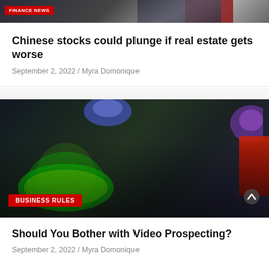[Figure (photo): Partially visible image with a red 'FINANCE NEWS' badge in the top-left corner, showing a person in a suit with a tie.]
Chinese stocks could plunge if real estate gets worse
September 2, 2022 / Myra Domonique
[Figure (photo): Laboratory scene with researchers looking through large glass flasks/beakers containing bright green liquid. A red 'BUSINESS RULES' badge is visible at the bottom-left.]
Should You Bother with Video Prospecting?
September 2, 2022 / Myra Domonique